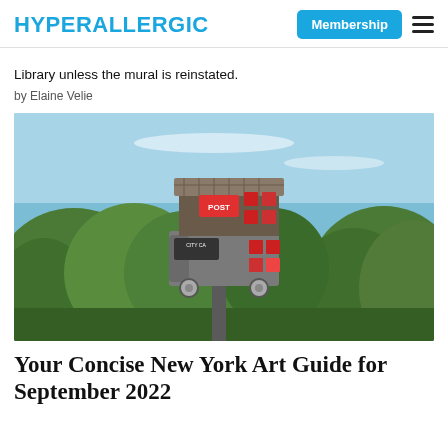HYPERALLERGIC
Library unless the mural is reinstated.
by Elaine Velie
[Figure (photo): A metal sculptural birdhouse-like structure mounted on a pole, decorated with colorful stickers and signs, set against a background of green trees and blue sky.]
Your Concise New York Art Guide for September 2022